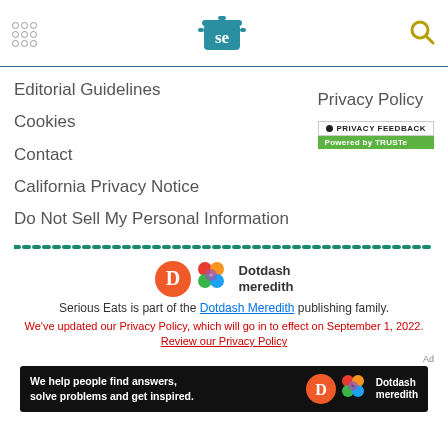Serious Eats header navigation
Editorial Guidelines
Privacy Policy
Cookies
[Figure (logo): TRUSTe Privacy Feedback badge powered by TRUSTe]
Contact
California Privacy Notice
Do Not Sell My Personal Information
[Figure (logo): Dotdash Meredith logo]
Serious Eats is part of the Dotdash Meredith publishing family.
We've updated our Privacy Policy, which will go in to effect on September 1, 2022. Review our Privacy Policy
[Figure (illustration): Dotdash Meredith advertisement banner: We help people find answers, solve problems and get inspired.]